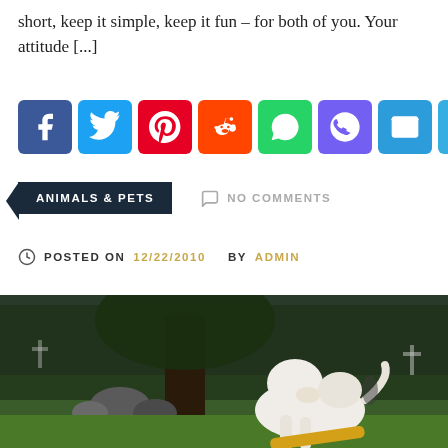short, keep it simple, keep it fun – for both of you. Your attitude [...]
[Figure (infographic): Social media share buttons: Facebook, Twitter, Pinterest, Reddit, WhatsApp, Viber, Email, Telegram, More]
ANIMALS & PETS   NO COMMENTS
POSTED ON 12/22/2010 BY ADMIN
[Figure (photo): A white dog playing with a yellow stick/tube in an outdoor park setting with trees and grass in the background.]